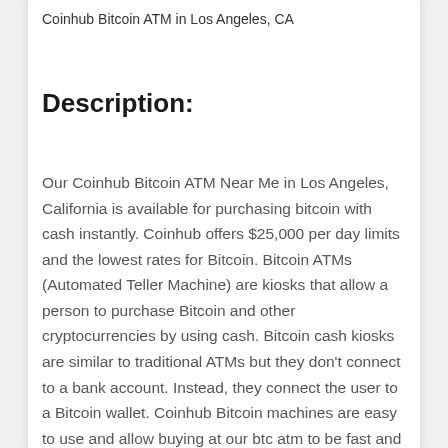Coinhub Bitcoin ATM in Los Angeles, CA
Description:
Our Coinhub Bitcoin ATM Near Me in Los Angeles, California is available for purchasing bitcoin with cash instantly. Coinhub offers $25,000 per day limits and the lowest rates for Bitcoin. Bitcoin ATMs (Automated Teller Machine) are kiosks that allow a person to purchase Bitcoin and other cryptocurrencies by using cash. Bitcoin cash kiosks are similar to traditional ATMs but they don't connect to a bank account. Instead, they connect the user to a Bitcoin wallet. Coinhub Bitcoin machines are easy to use and allow buying at our btc atm to be fast and instant. If you're using a Coinhub Bitcoin Machine near me, you can definitely get cash from it. Many Coinhub Bitcoin ATMs allow you to buy and sell cryptocurrency for cash. The